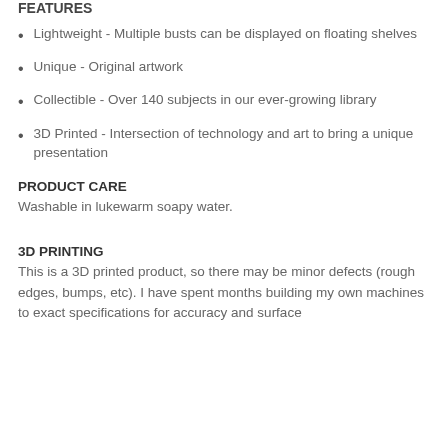FEATURES
Lightweight - Multiple busts can be displayed on floating shelves
Unique - Original artwork
Collectible - Over 140 subjects in our ever-growing library
3D Printed - Intersection of technology and art to bring a unique presentation
PRODUCT CARE
Washable in lukewarm soapy water.
3D PRINTING
This is a 3D printed product, so there may be minor defects (rough edges, bumps, etc). I have spent months building my own machines to exact specifications for accuracy and surface